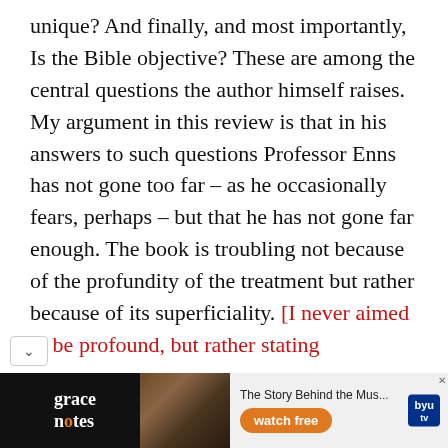unique? And finally, and most importantly, Is the Bible objective? These are among the central questions the author himself raises. My argument in this review is that in his answers to such questions Professor Enns has not gone too far – as he occasionally fears, perhaps – but that he has not gone far enough. The book is troubling not because of the profundity of the treatment but rather because of its superficiality. [I never aimed to be profound, but rather stating
[Figure (other): Advertisement banner for 'grace notes' show on BYU TV with tagline 'The Story Behind the Music' and 'watch free' button]